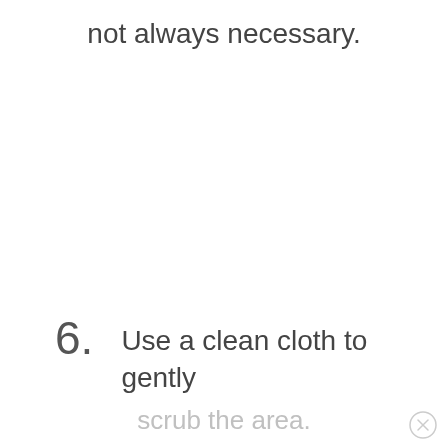not always necessary.
6. Use a clean cloth to gently scrub the area.
scrub the area.